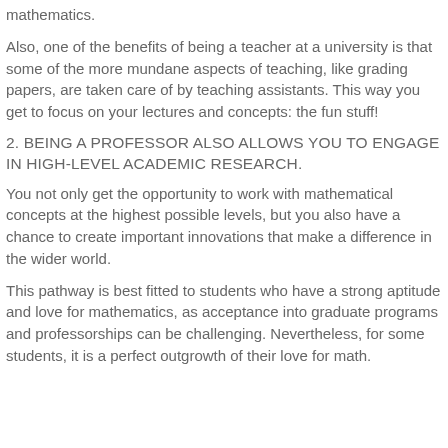mathematics.
Also, one of the benefits of being a teacher at a university is that some of the more mundane aspects of teaching, like grading papers, are taken care of by teaching assistants. This way you get to focus on your lectures and concepts: the fun stuff!
2. BEING A PROFESSOR ALSO ALLOWS YOU TO ENGAGE IN HIGH-LEVEL ACADEMIC RESEARCH.
You not only get the opportunity to work with mathematical concepts at the highest possible levels, but you also have a chance to create important innovations that make a difference in the wider world.
This pathway is best fitted to students who have a strong aptitude and love for mathematics, as acceptance into graduate programs and professorships can be challenging. Nevertheless, for some students, it is a perfect outgrowth of their love for math.